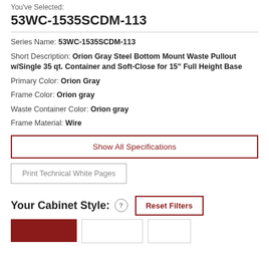You've Selected:
53WC-1535SCDM-113
Series Name: 53WC-1535SCDM-113
Short Description: Orion Gray Steel Bottom Mount Waste Pullout w/Single 35 qt. Container and Soft-Close for 15" Full Height Base
Primary Color: Orion Gray
Frame Color: Orion gray
Waste Container Color: Orion gray
Frame Material: Wire
Show All Specifications
Print Technical White Pages
Your Cabinet Style:
Reset Filters